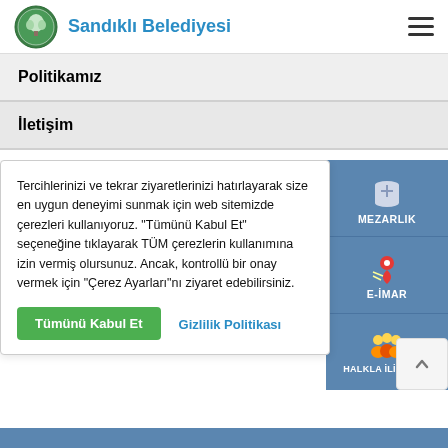Sandıklı Belediyesi
Politikamız
İletişim
Tercihlerinizi ve tekrar ziyaretlerinizi hatırlayarak size en uygun deneyimi sunmak için web sitemizde çerezleri kullanıyoruz. "Tümünü Kabul Et" seçeneğine tıklayarak TÜM çerezlerin kullanımına izin vermiş olursunuz. Ancak, kontrollü bir onay vermek için "Çerez Ayarları"nı ziyaret edebilirsiniz.
Tümünü Kabul Et
Gizlilik Politikası
[Figure (infographic): Right sidebar with MEZARLIK (cemetery), E-İMAR (zoning), and HALKLA İLİŞKİLER (public relations) icons on blue background]